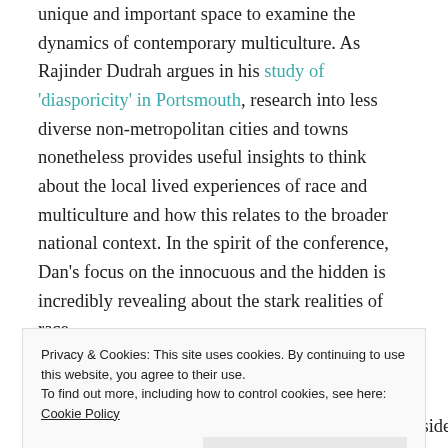unique and important space to examine the dynamics of contemporary multiculture. As Rajinder Dudrah argues in his study of 'diasporicity' in Portsmouth, research into less diverse non-metropolitan cities and towns nonetheless provides useful insights to think about the local lived experiences of race and multiculture and how this relates to the broader national context. In the spirit of the conference, Dan's focus on the innocuous and the hidden is incredibly revealing about the stark realities of race.
Privacy & Cookies: This site uses cookies. By continuing to use this website, you agree to their use. To find out more, including how to control cookies, see here: Cookie Policy
Daniel Durasoy presents 'How (and not so how) seaside